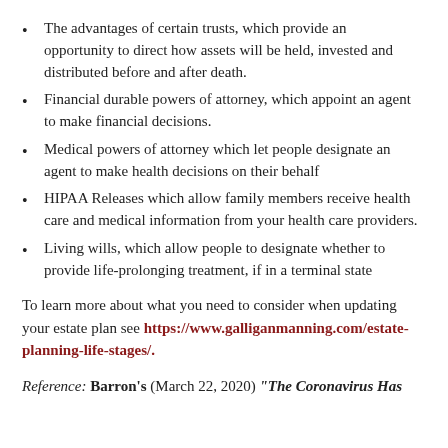The advantages of certain trusts, which provide an opportunity to direct how assets will be held, invested and distributed before and after death.
Financial durable powers of attorney, which appoint an agent to make financial decisions.
Medical powers of attorney which let people designate an agent to make health decisions on their behalf
HIPAA Releases which allow family members receive health care and medical information from your health care providers.
Living wills, which allow people to designate whether to provide life-prolonging treatment, if in a terminal state
To learn more about what you need to consider when updating your estate plan see https://www.galliganmanning.com/estate-planning-life-stages/.
Reference: Barron's (March 22, 2020) "The Coronavirus Has